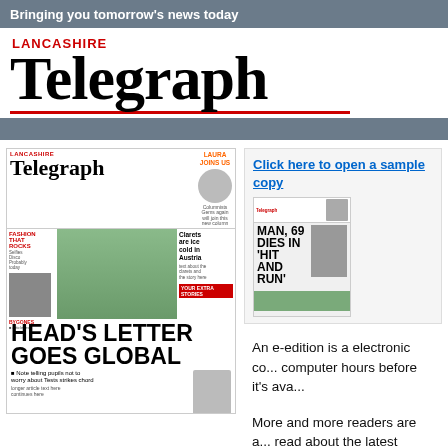Bringing you tomorrow's news today
LANCASHIRE Telegraph
[Figure (photo): Thumbnail of Lancashire Telegraph front page showing HEAD'S LETTER GOES GLOBAL headline and various news stories]
Click here to open a sample copy
[Figure (photo): Sample copy thumbnail showing Telegraph front page with MAN, 69 DIES IN 'HIT AND RUN' headline]
An e-edition is a electronic co... computer hours before it's ava...
More and more readers are a... read about the latest news, vi...